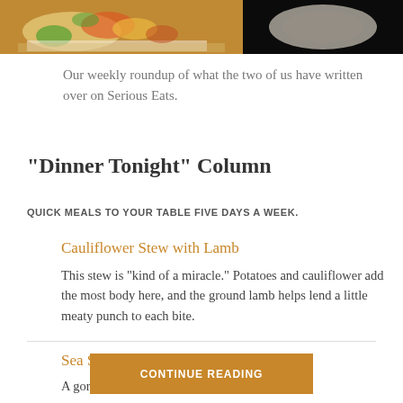[Figure (photo): Two food photos side by side at top: left shows a colorful salad/stir-fry dish on white plate with wooden background, right shows a light-colored dish on white plate with dark background]
Our weekly roundup of what the two of us have written over on Serious Eats.
"Dinner Tonight" Column
QUICK MEALS TO YOUR TABLE FIVE DAYS A WEEK.
Cauliflower Stew with Lamb
This stew is "kind of a miracle." Potatoes and cauliflower add the most body here, and the ground lamb helps lend a little meaty punch to each bite.
Sea Scallops alla Caprese
A gorgeous Caprese salad paired not...
CONTINUE READING